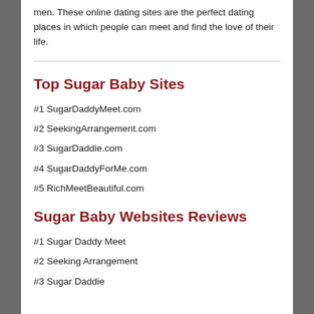men. These online dating sites are the perfect dating places in which people can meet and find the love of their life.
Top Sugar Baby Sites
#1 SugarDaddyMeet.com
#2 SeekingArrangement.com
#3 SugarDaddie.com
#4 SugarDaddyForMe.com
#5 RichMeetBeautiful.com
Sugar Baby Websites Reviews
#1 Sugar Daddy Meet
#2 Seeking Arrangement
#3 Sugar Daddie